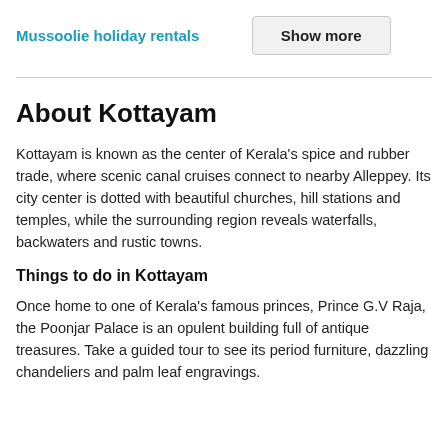Mussoolie holiday rentals
Show more
About Kottayam
Kottayam is known as the center of Kerala's spice and rubber trade, where scenic canal cruises connect to nearby Alleppey. Its city center is dotted with beautiful churches, hill stations and temples, while the surrounding region reveals waterfalls, backwaters and rustic towns.
Things to do in Kottayam
Once home to one of Kerala's famous princes, Prince G.V Raja, the Poonjar Palace is an opulent building full of antique treasures. Take a guided tour to see its period furniture, dazzling chandeliers and palm leaf engravings.